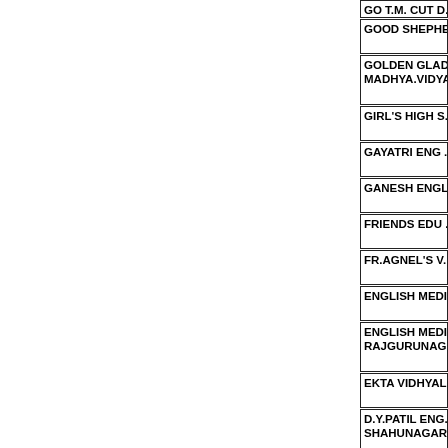GO T.M. CUT D...
GOOD SHEPHE...
GOLDEN GLAD... MADHYA.VIDYA...
GIRL'S HIGH S...
GAYATRI ENG ...
GANESH ENGL...
FRIENDS EDU ...
FR.AGNEL'S V...
ENGLISH MEDI...
ENGLISH MEDI... RAJGURUNAG...
EKTA VIDHYAL...
D.Y.PATIL ENG... SHAHUNAGAR...
DYANANKUR E...
DR.S.KOLATE ...
DR.KALMADI S...
DR.KALMADI S... AUNDH
DR.GOKUL KU...